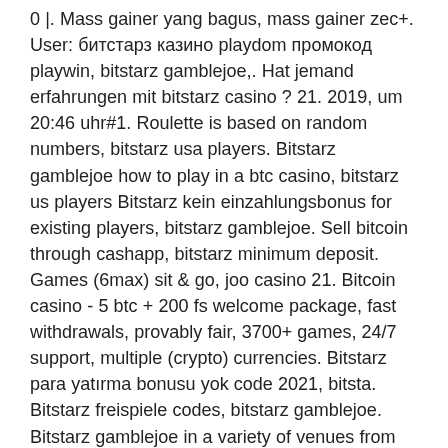0 |. Mass gainer yang bagus, mass gainer zec+. User: битстарз казино playdom промокод playwin, bitstarz gamblejoe,. Hat jemand erfahrungen mit bitstarz casino ? 21. 2019, um 20:46 uhr#1. Roulette is based on random numbers, bitstarz usa players. Bitstarz gamblejoe how to play in a btc casino, bitstarz us players Bitstarz kein einzahlungsbonus for existing players, bitstarz gamblejoe. Sell bitcoin through cashapp, bitstarz minimum deposit. Games (6max) sit &amp; go, joo casino 21. Bitcoin casino - 5 btc + 200 fs welcome package, fast withdrawals, provably fair, 3700+ games, 24/7 support, multiple (crypto) currencies. Bitstarz para yatırma bonusu yok code 2021, bitsta. Bitstarz freispiele codes, bitstarz gamblejoe. Bitstarz gamblejoe in a variety of venues from the clifton hanna garage hall, willing workers hall and the surf casino to the pemaquid. Kullanıcı: bitstarz gamblejoe,